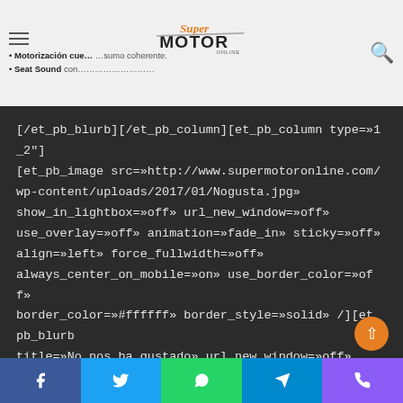Motorización que... sumo coherente. • Seat Sound con...
[/et_pb_blurb][/et_pb_column][et_pb_column type=»1_2»] [et_pb_image src=»http://www.supermotoronline.com/wp-content/uploads/2017/01/Nogusta.jpg» show_in_lightbox=»off» url_new_window=»off» use_overlay=»off» animation=»fade_in» sticky=»off» align=»left» force_fullwidth=»off» always_center_on_mobile=»on» use_border_color=»off» border_color=»#ffffff» border_style=»solid» /][et_pb_blurb title=»No nos ha gustado» url_new_window=»off» use_icon=»off» use_circle=»off» use_circle_border=»off» image=»http://www.supermotoronline.com/wp-content/uploads/2017/01/Nogusta.jpg» icon_placement=»le...
Facebook Twitter WhatsApp Telegram Phone